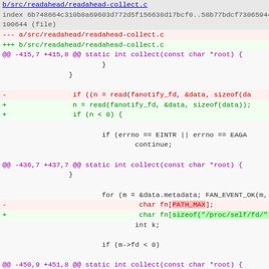[Figure (screenshot): Git diff output for b/src/readahead/readahead-collect.c showing code changes including fanotify_fd read calls, PATH_MAX to sizeof replacement, and char_array_0 removal]
b/src/readahead/readahead-collect.c
index 6b748664c310b8a69603d772d5f156638d17bcf0..58b77bdcf73065944f
100644 (file)
--- a/src/readahead/readahead-collect.c
+++ b/src/readahead/readahead-collect.c
@@ -415,7 +415,8 @@ static int collect(const char *root) {
                         }
                 }

-                if ((n = read(fanotify_fd, &data, sizeof(da
+                n = read(fanotify_fd, &data, sizeof(data));
+                if (n < 0) {

                         if (errno == EINTR || errno == EAGA
                                 continue;

@@ -436,7 +437,7 @@ static int collect(const char *root) {
                 }

                         for (m = &data.metadata; FAN_EVENT_OK(m, n)
-                                 char fn[PATH_MAX];
+                                 char fn[sizeof("/proc/self/fd/") +
                                 int k;

                         if (m->fd < 0)

@@ -450,9 +451,8 @@ static int collect(const char *root) {
                                 goto next_iteration;

                         snprintf(fn, sizeof(fn), "/proc/sel
-                                 char_array_0(fn);
-